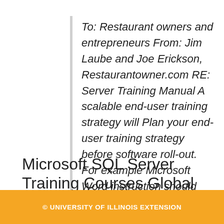To: Restaurant owners and entrepreneurs From: Jim Laube and Joe Erickson, Restaurantowner.com RE: Server Training Manual A scalable end-user training strategy will Plan your end-user training strategy before software roll-out. For example Microsoft Word instruction should
Microsoft SQL Server Training Courses Global
© UNIVERSITY OF ILLINOIS EXTENSION